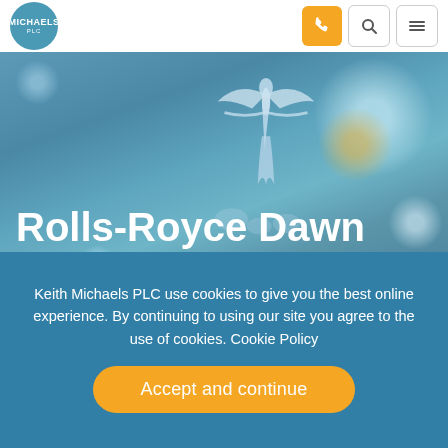Michaels PLC — navigation header with logo, phone button, search button, menu button
[Figure (photo): Close-up photograph of a Rolls-Royce Spirit of Ecstasy hood ornament with teal/blue bokeh background and warm golden bokeh highlights]
Rolls-Royce Dawn Car Insurance
Keith Michaels PLC use cookies to give you the best online experience. By continuing to using our site you agree to the use of cookies. Cookie Policy
Accept and continue